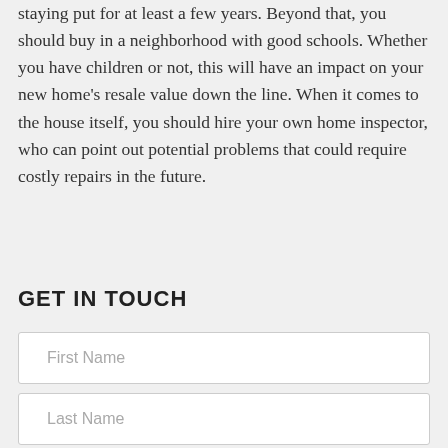staying put for at least a few years. Beyond that, you should buy in a neighborhood with good schools. Whether you have children or not, this will have an impact on your new home's resale value down the line. When it comes to the house itself, you should hire your own home inspector, who can point out potential problems that could require costly repairs in the future.
GET IN TOUCH
First Name
Last Name